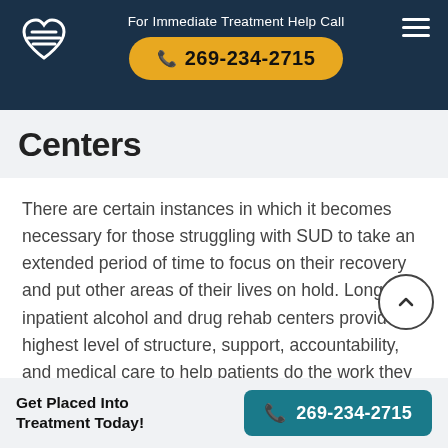For Immediate Treatment Help Call 269-234-2715
Centers
There are certain instances in which it becomes necessary for those struggling with SUD to take an extended period of time to focus on their recovery and put other areas of their lives on hold. Long-term inpatient alcohol and drug rehab centers provide the highest level of structure, support, accountability, and medical care to help patients do the work they need to do to overcome their alcohol or drug dependency and reclaim their lives. Ohio offers dozens of long-term inpatient facilities to help patients back on their feet and incrementally start rebuilding every aspect of their lives that have suffered in the wake of their
Get Placed Into Treatment Today! 269-234-2715